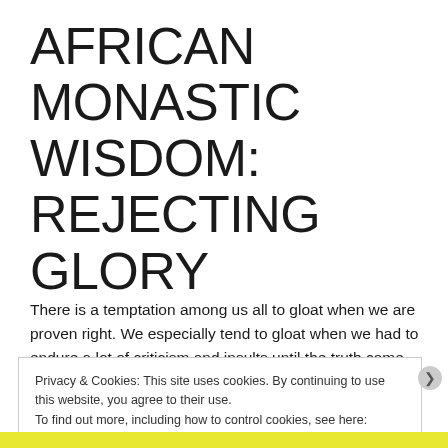AFRICAN MONASTIC WISDOM: REJECTING GLORY
There is a temptation among us all to gloat when we are proven right.  We especially tend to gloat when we had to endure a lot of criticism and insults until the truth came out on our side.  For some, we just want our opponents to admit their faults.  Others of us want to make a meal out of our “haters.”
Privacy & Cookies: This site uses cookies. By continuing to use this website, you agree to their use.
To find out more, including how to control cookies, see here: Cookie Policy
Close and accept